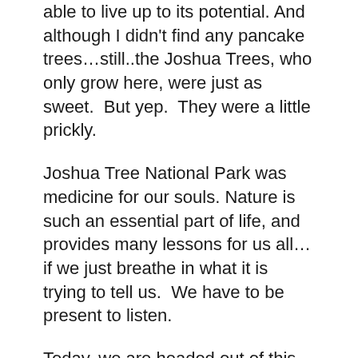able to live up to its potential. And although I didn't find any pancake trees…still..the Joshua Trees, who only grow here, were just as sweet.  But yep.  They were a little prickly.
Joshua Tree National Park was medicine for our souls. Nature is such an essential part of life, and provides many lessons for us all…if we just breathe in what it is trying to tell us.  We have to be present to listen.
Today, we are headed out of this California place and on our way to Gila Bend, Arizona!  Who is with us?
-Deputy Digby Pancake